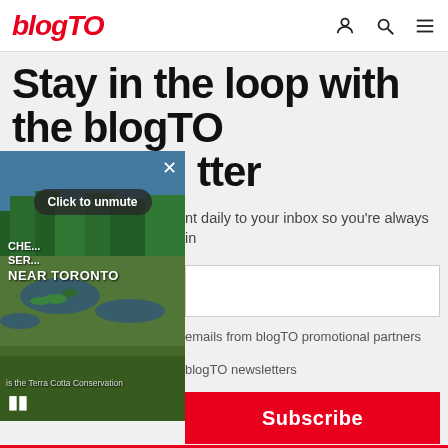blogTO
Stay in the loop with the blogTO newsletter
nt daily to your inbox so you're always in
emails from blogTO promotional partners
blogTO newsletters
Subscribe
[Figure (screenshot): Video overlay showing a nature/wetland scene near Toronto with CHE... SER... NEAR TORONTO text labels, a close button (X), Click to unmute button, a pause button, and a caption about Terra Cotta Conservation]
Contact us or unsubscribe anytime.